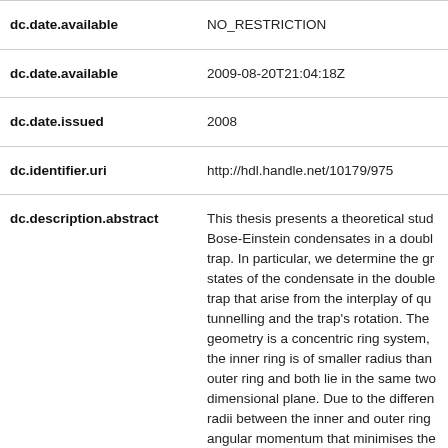| dc.date.available | NO_RESTRICTION |
| dc.date.available | 2009-08-20T21:04:18Z |
| dc.date.issued | 2008 |
| dc.identifier.uri | http://hdl.handle.net/10179/975 |
| dc.description.abstract | This thesis presents a theoretical study of Bose-Einstein condensates in a double-well trap. In particular, we determine the ground states of the condensate in the double-well trap that arise from the interplay of quantum tunnelling and the trap's rotation. The trap geometry is a concentric ring system, where the inner ring is of smaller radius than the outer ring and both lie in the same two-dimensional plane. Due to the different radii between the inner and outer rings, the angular momentum that minimises the energy of a condensate when confined to the individual rings is different at most frequencies. This preference is in direct competition with the tunnel coupling of... |